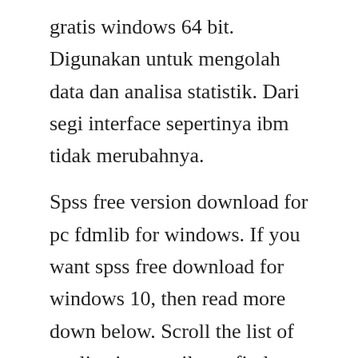gratis windows 64 bit. Digunakan untuk mengolah data dan analisa statistik. Dari segi interface sepertinya ibm tidak merubahnya.
Spss free version download for pc fdmlib for windows. If you want spss free download for windows 10, then read more down below. Scroll the list of applications until you find spss 14. Furthermore, the organization use ibm spss statistics to analyze trend, understand data, forecast and plan to difference assumption ibm spss free download latest version crack ibm spss full crack plus